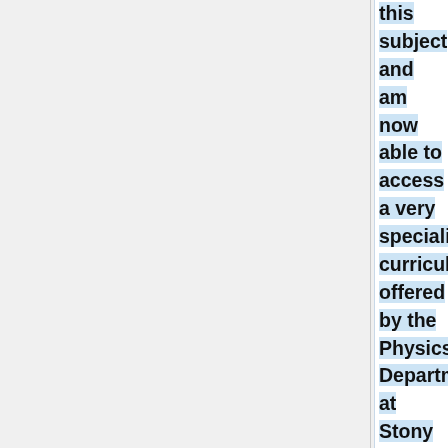this subject and am now able to access a very specialized curriculum offered by the Physics Department at Stony Brook and concentrate on expanding my knowledge in Plasma and Wakefield Accelerators.  I am also gaining theoretical knowledge in plasma physics and will apply that knowledge into the engineering field, thereby merging accelerator physics with electrical engineering area